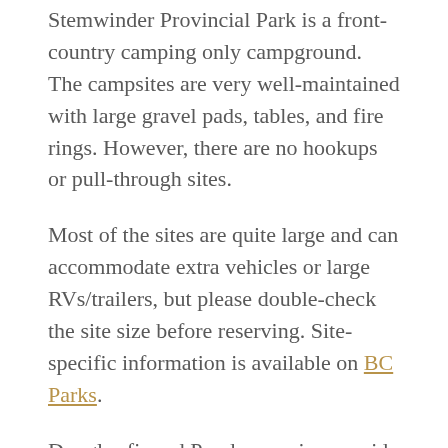Stemwinder Provincial Park is a front-country camping only campground. The campsites are very well-maintained with large gravel pads, tables, and fire rings. However, there are no hookups or pull-through sites.
Most of the sites are quite large and can accommodate extra vehicles or large RVs/trailers, but please double-check the site size before reserving. Site-specific information is available on BC Parks.
Douglas fir and Ponderosa pine provide privacy